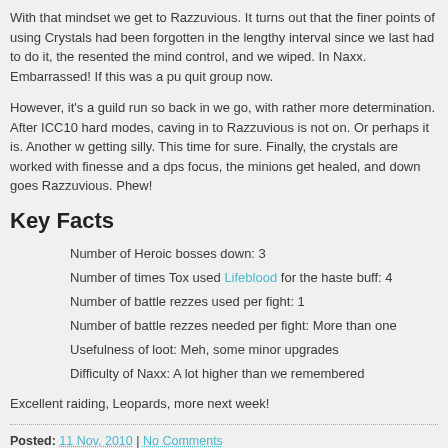With that mindset we get to Razzuvious. It turns out that the finer points of using Crystals had been forgotten in the lengthy interval since we last had to do it, the resented the mind control, and we wiped. In Naxx. Embarrassed! If this was a pu quit group now.
However, it's a guild run so back in we go, with rather more determination. After ICC10 hard modes, caving in to Razzuvious is not on. Or perhaps it is. Another w getting silly. This time for sure. Finally, the crystals are worked with finesse and a dps focus, the minions get healed, and down goes Razzuvious. Phew!
Key Facts
Number of Heroic bosses down: 3
Number of times Tox used Lifeblood for the haste buff: 4
Number of battle rezzes used per fight: 1
Number of battle rezzes needed per fight: More than one
Usefulness of loot: Meh, some minor upgrades
Difficulty of Naxx: A lot higher than we remembered
Excellent raiding, Leopards, more next week!
Posted: 11 Nov, 2010 | No Comments
Categories: Raid Reports | Tags: | By: Toxicity.